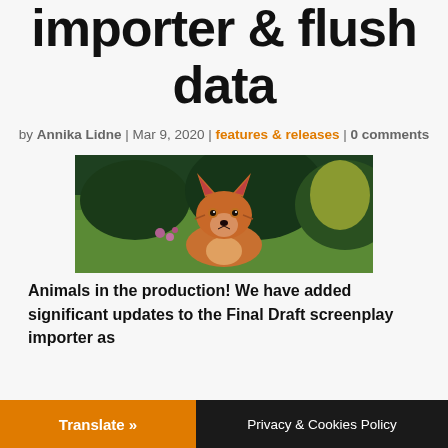importer & flush data
by Annika Lidne | Mar 9, 2020 | features & releases | 0 comments
[Figure (photo): A red fox looking at the camera in a grassy outdoor setting with green foliage in the background]
Animals in the production! We have added significant updates to the Final Draft screenplay importer as
Translate » | Privacy & Cookies Policy